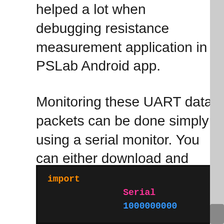helped a lot when debugging resistance measurement application in PSLab Android app.
Monitoring these UART data packets can be done simply using a serial monitor. You can either download and install some already built serial monitors or you can simply write a python script as follows which does the trick.
[Figure (screenshot): A dark-themed code editor window showing a Python import statement with 'import' in orange, 'Serial' in pink/magenta, and '1000000000' in blue monospace font.]